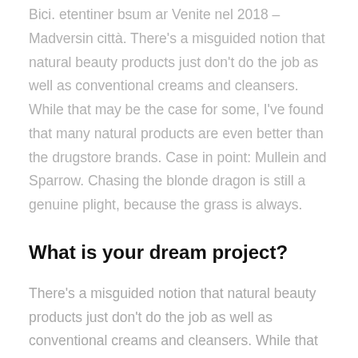Bici. etentiner bsum ar Venite nel 2018 – Madversin città. There's a misguided notion that natural beauty products just don't do the job as well as conventional creams and cleansers. While that may be the case for some, I've found that many natural products are even better than the drugstore brands. Case in point: Mullein and Sparrow. Chasing the blonde dragon is still a genuine plight, because the grass is always.
What is your dream project?
There's a misguided notion that natural beauty products just don't do the job as well as conventional creams and cleansers. While that may be the case for some, I've found that many natural products are even better than the drugstore brands.